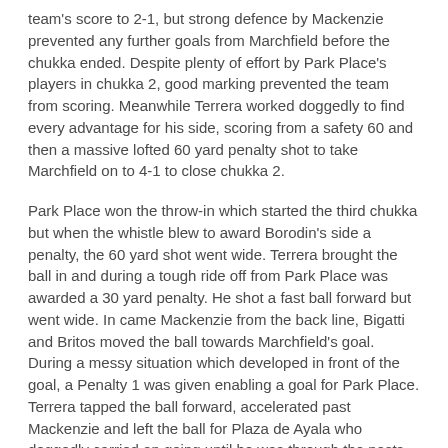team's score to 2-1, but strong defence by Mackenzie prevented any further goals from Marchfield before the chukka ended. Despite plenty of effort by Park Place's players in chukka 2, good marking prevented the team from scoring. Meanwhile Terrera worked doggedly to find every advantage for his side, scoring from a safety 60 and then a massive lofted 60 yard penalty shot to take Marchfield on to 4-1 to close chukka 2.
Park Place won the throw-in which started the third chukka but when the whistle blew to award Borodin's side a penalty, the 60 yard shot went wide. Terrera brought the ball in and during a tough ride off from Park Place was awarded a 30 yard penalty. He shot a fast ball forward but went wide. In came Mackenzie from the back line, Bigatti and Britos moved the ball towards Marchfield's goal. During a messy situation which developed in front of the goal, a Penalty 1 was given enabling a goal for Park Place. Terrera tapped the ball forward, accelerated past Mackenzie and left the ball for Plaza de Ayala who doggedly carried on going until he was through the posts to put 5-2 on the scoreboard for Marchfield. Another missed 30 yard penalty was a surprise, but at chukka's end Plaza de Ayala converted a 30 yard penalty for Marchfield whose score moved on to 6-2.